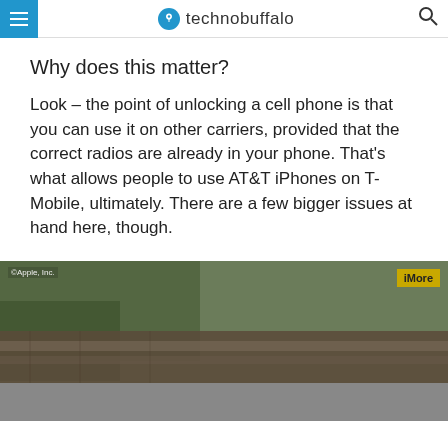technobuffalo
Why does this matter?
Look – the point of unlocking a cell phone is that you can use it on other carriers, provided that the correct radios are already in your phone. That's what allows people to use AT&T iPhones on T-Mobile, ultimately. There are a few bigger issues at hand here, though.
[Figure (photo): Blurred outdoor scene showing what appears to be a wooden bench or table with green foliage in background. Overlaid with ©Apple, Inc. copyright badge top-left and iMore badge top-right.]